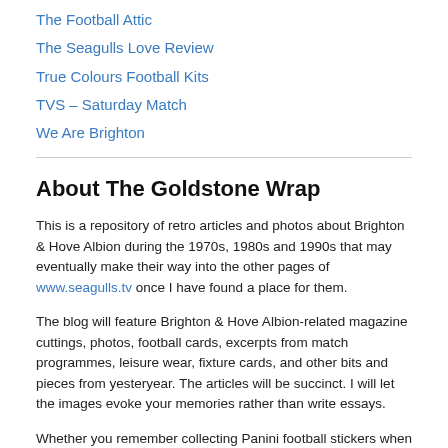The Football Attic
The Seagulls Love Review
True Colours Football Kits
TVS – Saturday Match
We Are Brighton
About The Goldstone Wrap
This is a repository of retro articles and photos about Brighton & Hove Albion during the 1970s, 1980s and 1990s that may eventually make their way into the other pages of www.seagulls.tv once I have found a place for them.
The blog will feature Brighton & Hove Albion-related magazine cuttings, photos, football cards, excerpts from match programmes, leisure wear, fixture cards, and other bits and pieces from yesteryear. The articles will be succinct. I will let the images evoke your memories rather than write essays.
Whether you remember collecting Panini football stickers when Brighton